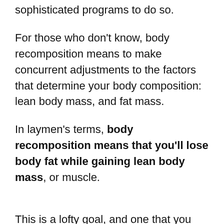sophisticated programs to do so.
For those who don't know, body recomposition means to make concurrent adjustments to the factors that determine your body composition: lean body mass, and fat mass.
In laymen's terms, body recomposition means that you'll lose body fat while gaining lean body mass, or muscle.
This is a lofty goal, and one that you have no doubt been told is impossible.
Because the truth is, there's a commonly held belief that you simply can't do that: